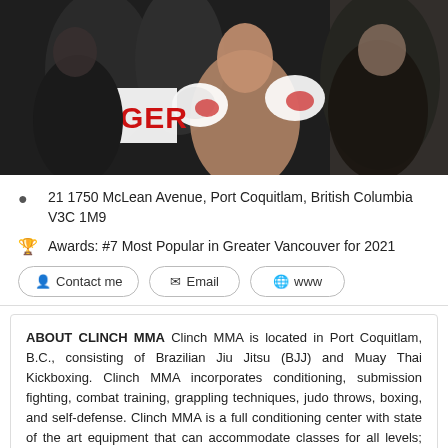[Figure (photo): Boxing/MMA fighter with red and white gloves in a ring, surrounded by team members, holding a 'GER' sign in the background.]
21 1750 McLean Avenue, Port Coquitlam, British Columbia V3C 1M9
Awards: #7 Most Popular in Greater Vancouver for 2021
Contact me   Email   www
ABOUT CLINCH MMA Clinch MMA is located in Port Coquitlam, B.C., consisting of Brazilian Jiu Jitsu (BJJ) and Muay Thai Kickboxing. Clinch MMA incorporates conditioning, submission fighting, combat training, grappling techniques, judo throws, boxing, and self-defense. Clinch MMA is a full conditioning center with state of the art equipment that can accommodate classes for all levels; junior, kids, teen, adult, ladies, beginners and advanced levels  Read more